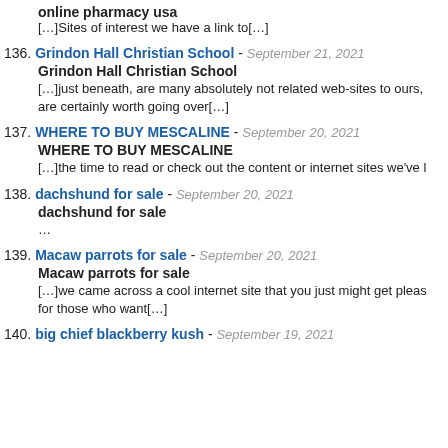online pharmacy usa
[…]Sites of interest we have a link to[…]
136. Grindon Hall Christian School - September 21, 2021
Grindon Hall Christian School
[…]just beneath, are many absolutely not related web-sites to ours, are certainly worth going over[…]
137. WHERE TO BUY MESCALINE - September 20, 2021
WHERE TO BUY MESCALINE
[…]the time to read or check out the content or internet sites we've l
138. dachshund for sale - September 20, 2021
dachshund for sale
…
139. Macaw parrots for sale - September 20, 2021
Macaw parrots for sale
[…]we came across a cool internet site that you just might get pleas for those who want[…]
140. big chief blackberry kush - September 19, 2021